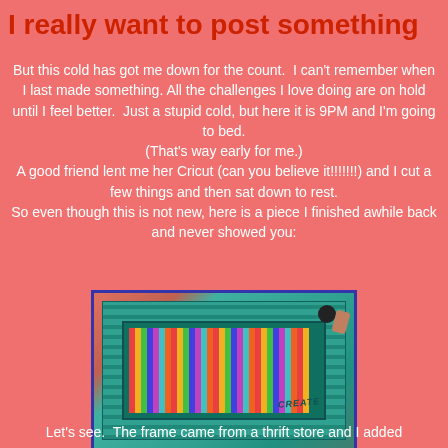I really want to post something
But this cold has got me down for the count.  I can't remember when I last made something. All the challenges I love doing are on hold until I feel better.  Just a stupid cold, but here it is 9PM and I'm going to bed.
(That's way early for me.)
A good friend lent me her Cricut (can you believe it!!!!!!!) and I cut a few things and then sat down to rest.
So even though this is not new, here is a piece I finished awhile back and never showed you:
[Figure (photo): A decorative art piece featuring a teal/turquoise distressed painted wooden frame with a colorful striped interior panel that reads CREATE, photographed on a textured surface with small embellishments visible.]
Let's see.  The frame came from a thrift store and I added